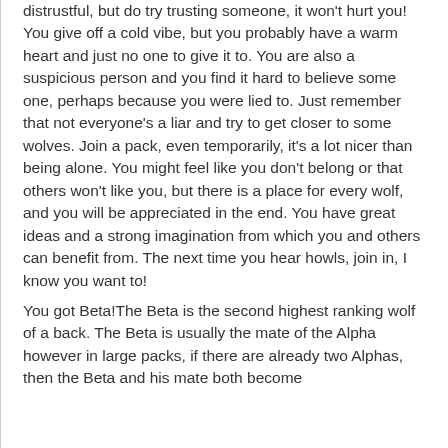distrustful, but do try trusting someone, it won't hurt you! You give off a cold vibe, but you probably have a warm heart and just no one to give it to. You are also a suspicious person and you find it hard to believe some one, perhaps because you were lied to. Just remember that not everyone's a liar and try to get closer to some wolves. Join a pack, even temporarily, it's a lot nicer than being alone. You might feel like you don't belong or that others won't like you, but there is a place for every wolf, and you will be appreciated in the end. You have great ideas and a strong imagination from which you and others can benefit from. The next time you hear howls, join in, I know you want to!
You got Beta!The Beta is the second highest ranking wolf of a back. The Beta is usually the mate of the Alpha however in large packs, if there are already two Alphas, then the Beta and his mate both become